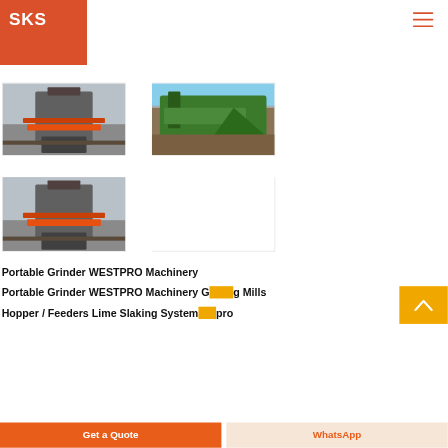[Figure (logo): SKS logo white text on orange/red square background]
[Figure (illustration): Hamburger menu icon (three horizontal lines) in orange-red]
[Figure (photo): Industrial grinding machine in factory setting, top-left of image grid]
[Figure (photo): Outdoor mobile crusher/screener in green color working at a site with blue sky and earth]
[Figure (photo): Industrial grinding machine in factory setting, bottom-left of image grid]
Portable Grinder WESTPRO Machinery
Portable Grinder WESTPRO Machinery Grinding Mills
Hopper / Feeders Lime Slaking System pro
[Figure (illustration): Gold/yellow back-to-top button with upward chevron arrow]
Get a Quote
WhatsApp